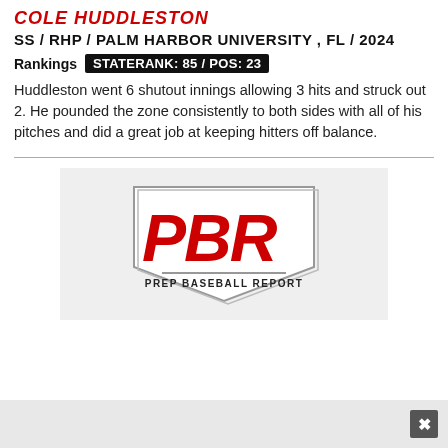COLE HUDDLESTON
SS / RHP / PALM HARBOR UNIVERSITY , FL / 2024
Rankings  STATE RANK: 85 / POS: 23
Huddleston went 6 shutout innings allowing 3 hits and struck out 2. He pounded the zone consistently to both sides with all of his pitches and did a great job at keeping hitters off balance.
[Figure (logo): Prep Baseball Report (PBR) logo — shield/home-plate shape with red PBR letters and text PREP BASEBALL REPORT below]